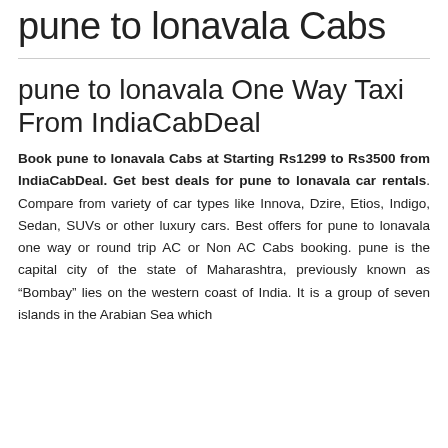pune to lonavala Cabs
pune to lonavala One Way Taxi From IndiaCabDeal
Book pune to lonavala Cabs at Starting Rs1299 to Rs3500 from IndiaCabDeal. Get best deals for pune to lonavala car rentals. Compare from variety of car types like Innova, Dzire, Etios, Indigo, Sedan, SUVs or other luxury cars. Best offers for pune to lonavala one way or round trip AC or Non AC Cabs booking. pune is the capital city of the state of Maharashtra, previously known as “Bombay” lies on the western coast of India. It is a group of seven islands in the Arabian Sea which